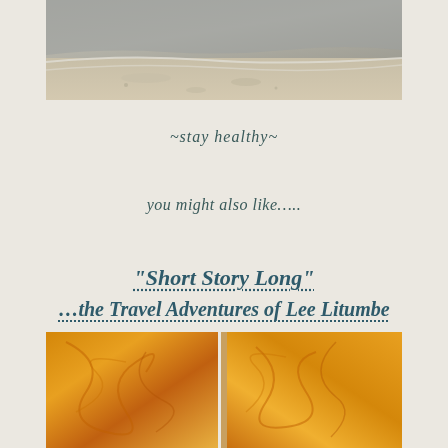[Figure (photo): Beach shoreline photo showing sand and ocean waves in muted beige and grey tones]
~stay healthy~
you might also like…..
"Short Story Long"
…the Travel Adventures of Lee Litumbe
[Figure (photo): Two golden/orange abstract or food photographs side by side at the bottom of the page]